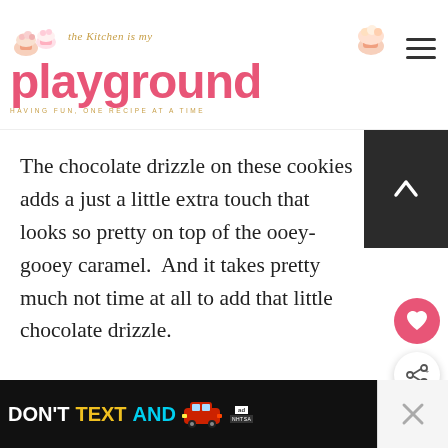The Kitchen is My Playground — HAVING FUN, ONE RECIPE AT A TIME
The chocolate drizzle on these cookies adds a just a little extra touch that looks so pretty on top of the ooey-gooey caramel.  And it takes pretty much not time at all to add that little chocolate drizzle.
[Figure (infographic): WHAT'S NEXT arrow label with Turtle Krispie Treats thumbnail]
You can probably leave it off if you'd like and
[Figure (infographic): DON'T TEXT AND [car icon] ad banner with NHTSA branding and close button]